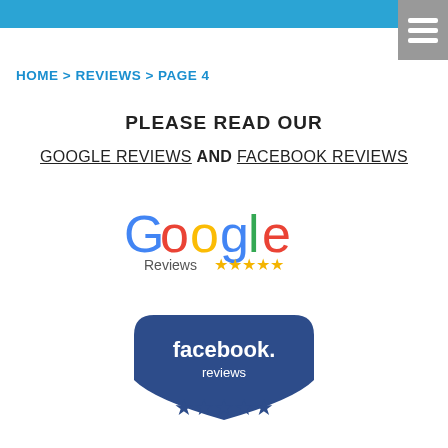HOME > REVIEWS > PAGE 4
PLEASE READ OUR
GOOGLE REVIEWS AND FACEBOOK REVIEWS
[Figure (logo): Google Reviews logo with five gold stars]
[Figure (logo): Facebook Reviews logo with five dark blue stars]